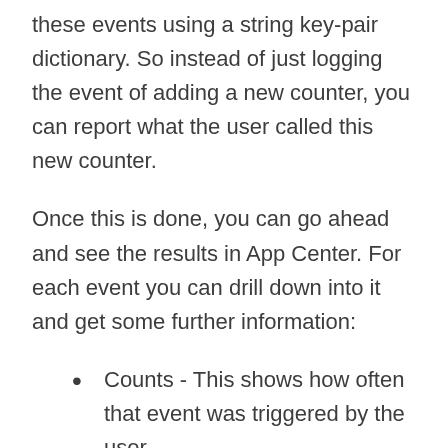these events using a string key-pair dictionary. So instead of just logging the event of adding a new counter, you can report what the user called this new counter.
Once this is done, you can go ahead and see the results in App Center. For each event you can drill down into it and get some further information:
Counts - This shows how often that event was triggered by the user